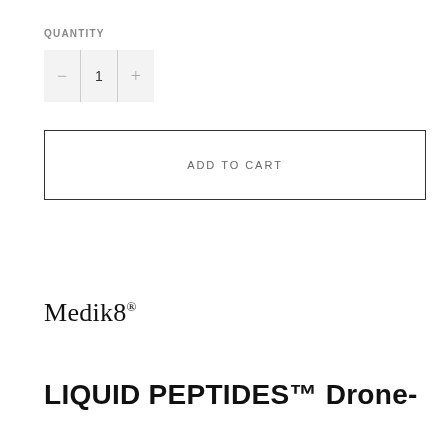QUANTITY
— 1 +
ADD TO CART
Medik8
LIQUID PEPTIDES™ Drone-